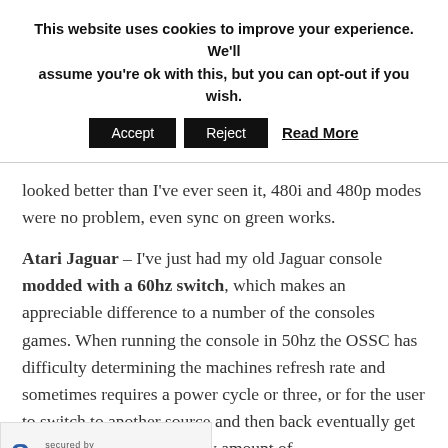This website uses cookies to improve your experience. We'll assume you're ok with this, but you can opt-out if you wish.
Accept | Reject | Read More
looked better than I've ever seen it, 480i and 480p modes were no problem, even sync on green works.
Atari Jaguar – I've just had my old Jaguar console modded with a 60hz switch, which makes an appreciable difference to a number of the consoles games. When running the console in 50hz the OSSC has difficulty determining the machines refresh rate and sometimes requires a power cycle or three, or for the user to switch to another source and then back eventually get a picture, the save for a tiny amount of
[Figure (logo): Sucuri security badge with S+ logo and 'secured by sucuri' text]